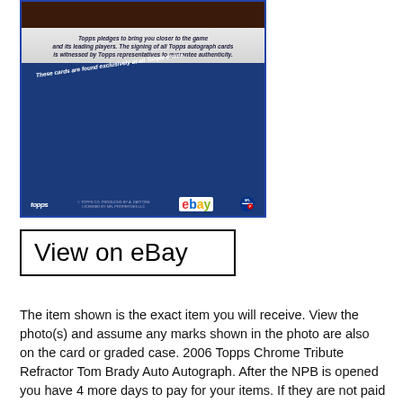[Figure (photo): Photo of the back of a 2006 Topps Chrome trading card showing text about Topps autograph authenticity, a note that cards are found exclusively at all Target stores, Topps logo, eBay wordmark logo, NFL shield logo, and NFL Players logo. The card is displayed on a dark brown/maroon background with a blue border frame.]
View on eBay
The item shown is the exact item you will receive. View the photo(s) and assume any marks shown in the photo are also on the card or graded case. 2006 Topps Chrome Tribute Refractor Tom Brady Auto Autograph. After the NPB is opened you have 4 more days to pay for your items. If they are not paid it will automatically close. Please remember to leave feedback when you've received your item and you are satisfied. Feedback is automatically left for you after we receive a positive. We are only human and sometimes make mistakes, so please allow me the opportunity to correct any errors first. Get images that make Supersized seem small. Showcase your items with Auctiva's. Track Page Views With. Auctiva's FREE Counter. The item “2006 Topps Chrome Tribute Refractor Tom Brady Auto Autograph” is in sale since Sunday, January 31, 2021. This item is in the category “Sports Mem, Cards